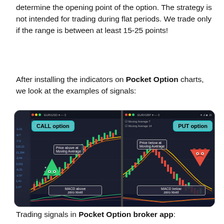determine the opening point of the option. The strategy is not intended for trading during flat periods. We trade only if the range is between at least 15-25 points!
After installing the indicators on Pocket Option charts, we look at the examples of signals:
[Figure (screenshot): Two side-by-side trading chart screenshots from Pocket Option broker app. Left panel shows a CALL option signal with a green triangle mascot indicating 'Price above Moving Average' and 'MACD above zero level'. Right panel shows a PUT option signal with a red triangle indicator showing 'Price below Moving Average' and 'MACD below zero level'.]
Trading signals in Pocket Option broker app: